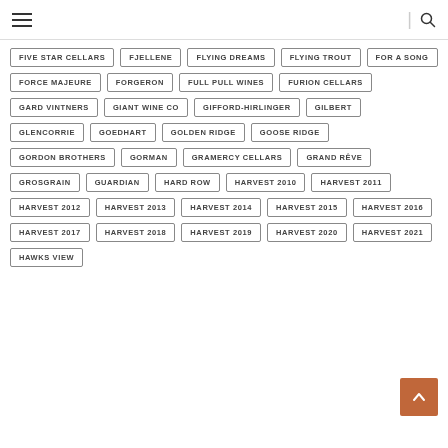Navigation header with hamburger menu and search icon
FIVE STAR CELLARS
FJELLENE
FLYING DREAMS
FLYING TROUT
FOR A SONG
FORCE MAJEURE
FORGERON
FULL PULL WINES
FURION CELLARS
GARD VINTNERS
GIANT WINE CO
GIFFORD-HIRLINGER
GILBERT
GLENCORRIE
GOEDHART
GOLDEN RIDGE
GOOSE RIDGE
GORDON BROTHERS
GORMAN
GRAMERCY CELLARS
GRAND RÊVE
GROSGRAIN
GUARDIAN
HARD ROW
HARVEST 2010
HARVEST 2011
HARVEST 2012
HARVEST 2013
HARVEST 2014
HARVEST 2015
HARVEST 2016
HARVEST 2017
HARVEST 2018
HARVEST 2019
HARVEST 2020
HARVEST 2021
HAWKS VIEW